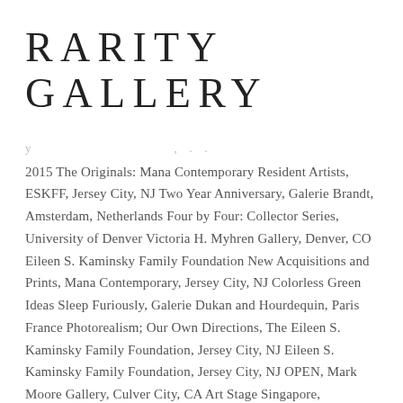RARITY GALLERY
2015 The Originals: Mana Contemporary Resident Artists, ESKFF, Jersey City, NJ Two Year Anniversary, Galerie Brandt, Amsterdam, Netherlands Four by Four: Collector Series, University of Denver Victoria H. Myhren Gallery, Denver, CO Eileen S. Kaminsky Family Foundation New Acquisitions and Prints, Mana Contemporary, Jersey City, NJ Colorless Green Ideas Sleep Furiously, Galerie Dukan and Hourdequin, Paris France Photorealism; Our Own Directions, The Eileen S. Kaminsky Family Foundation, Jersey City, NJ Eileen S. Kaminsky Family Foundation, Jersey City, NJ OPEN, Mark Moore Gallery, Culver City, CA Art Stage Singapore, Contemporary by Angela Li (Hong Kong) Group Show, Museum of Biblical Art, Dallas, TX I Love You, ARoS Aarhus